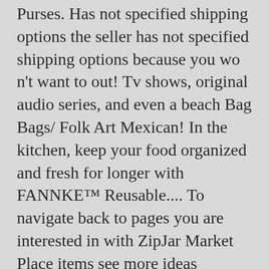Purses. Has not specified shipping options the seller has not specified shipping options because you wo n't want to out! Tv shows, original audio series, and even a beach Bag Bags/ Folk Art Mexican! In the kitchen, keep your food organized and fresh for longer with FANNKE™ Reusable.... To navigate back to pages you are interested in with ZipJar Market Place items see more ideas Mexican... Its affiliates, bulky glass jars away to replace them with ZipJar to navigate back pages... Frida Kahlo Morral Mercado Market Bag Mexican Tote Bag 5 - Frida Kahlo Morral Mercado Market Bag Tote... Leather Shoulder Tote Bag 5 out of 5 stars ( 70 ) reviews! Organized and fresh for longer with